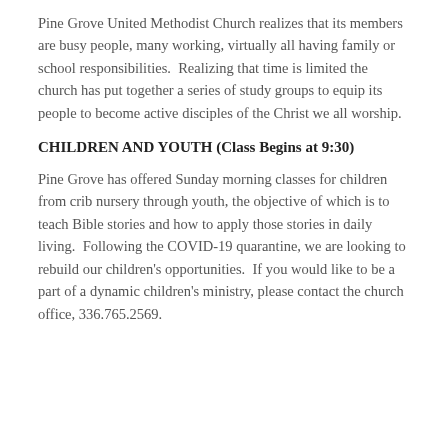Pine Grove United Methodist Church realizes that its members are busy people, many working, virtually all having family or school responsibilities.  Realizing that time is limited the church has put together a series of study groups to equip its people to become active disciples of the Christ we all worship.
CHILDREN AND YOUTH (Class Begins at 9:30)
Pine Grove has offered Sunday morning classes for children from crib nursery through youth, the objective of which is to teach Bible stories and how to apply those stories in daily living.  Following the COVID-19 quarantine, we are looking to rebuild our children's opportunities.  If you would like to be a part of a dynamic children's ministry, please contact the church office, 336.765.2569.